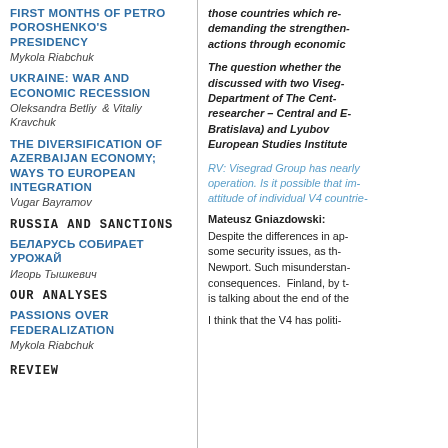FIRST MONTHS OF PETRO POROSHENKO'S PRESIDENCY
Mykola Riabchuk
UKRAINE: WAR AND ECONOMIC RECESSION
Oleksandra Betliy & Vitaliy Kravchuk
THE DIVERSIFICATION OF AZERBAIJAN ECONOMY; WAYS TO EUROPEAN INTEGRATION
Vugar Bayramov
RUSSIA AND SANCTIONS
БЕЛАРУСЬ СОБИРАЕТ УРОЖАЙ
Игорь Тышкевич
OUR ANALYSES
PASSIONS OVER FEDERALIZATION
Mykola Riabchuk
REVIEW
those countries which re... demanding the strengthen... actions through economic...
The question whether the... discussed with two Viseg... Department of The Cent... researcher – Central and E... Bratislava) and Lyubov... European Studies Institute...
RV: Visegrad Group has nearly... operation. Is it possible that im... attitude of individual V4 countrie...
Mateusz Gniazdowski:
Despite the differences in ap... some security issues, as th... Newport. Such misunderstan... consequences. Finland, by t... is talking about the end of the...
I think that the V4 has politi...